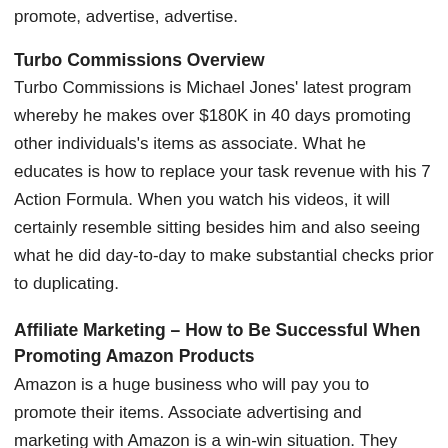promote, advertise, advertise.
Turbo Commissions Overview
Turbo Commissions is Michael Jones' latest program whereby he makes over $180K in 40 days promoting other individuals's items as associate. What he educates is how to replace your task revenue with his 7 Action Formula. When you watch his videos, it will certainly resemble sitting besides him and also seeing what he did day-to-day to make substantial checks prior to duplicating.
Affiliate Marketing – How to Be Successful When Promoting Amazon Products
Amazon is a huge business who will pay you to promote their items. Associate advertising and marketing with Amazon is a win-win situation. They have currently spending numerous dollars each year on marketing charges as well as usually it is